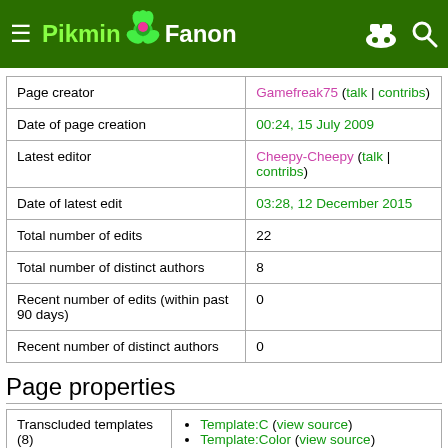Pikmin Fanon
|  |  |
| --- | --- |
| Page creator | Gamefreak75 (talk | contribs) |
| Date of page creation | 00:24, 15 July 2009 |
| Latest editor | Cheepy-Cheepy (talk | contribs) |
| Date of latest edit | 03:28, 12 December 2015 |
| Total number of edits | 22 |
| Total number of distinct authors | 8 |
| Recent number of edits (within past 90 days) | 0 |
| Recent number of distinct authors | 0 |
Page properties
|  |  |
| --- | --- |
| Transcluded templates (8) | Template:C (view source)
Template:Color (view source) |